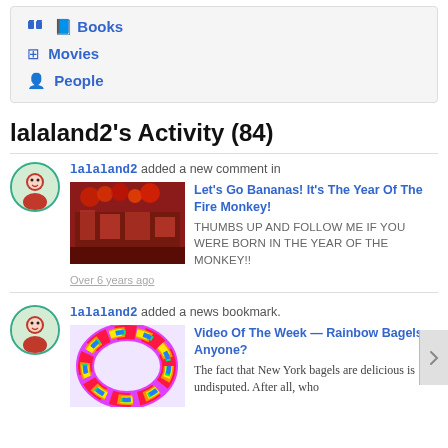Books
Movies
People
lalaland2's Activity (84)
lalaland2 added a new comment in
Let's Go Bananas! It's The Year Of The Fire Monkey!
THUMBS UP AND FOLLOW ME IF YOU WERE BORN IN THE YEAR OF THE MONKEY!!
Over 6 years ago
lalaland2 added a news bookmark.
Video Of The Week — Rainbow Bagels Anyone?
The fact that New York bagels are delicious is undisputed. After all, who